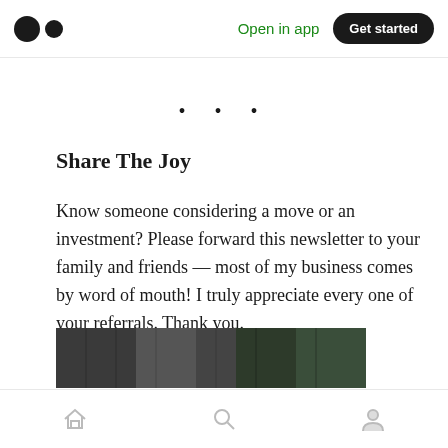Open in app | Get started
· · ·
Share The Joy
Know someone considering a move or an investment? Please forward this newsletter to your family and friends — most of my business comes by word of mouth! I truly appreciate every one of your referrals. Thank you.
[Figure (photo): Partial image of what appears to be an indoor scene, cropped at bottom of page]
Home | Search | Profile navigation icons